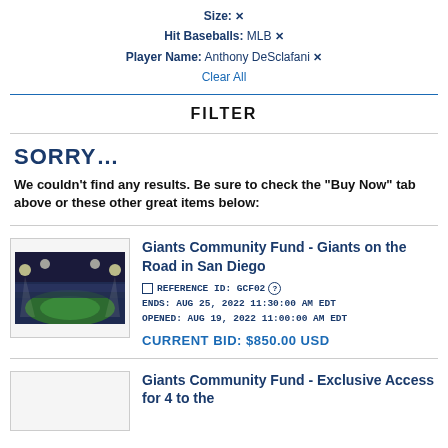Size: ✕
Hit Baseballs: MLB ✕
Player Name: Anthony DeSclafani ✕
Clear All
FILTER
SORRY…
We couldn't find any results. Be sure to check the "Buy Now" tab above or these other great items below:
Giants Community Fund - Giants on the Road in San Diego
REFERENCE ID: GCF02  ENDS: AUG 25, 2022 11:30:00 AM EDT  OPENED: AUG 19, 2022 11:00:00 AM EDT  CURRENT BID: $850.00 USD
[Figure (photo): Aerial view of a baseball stadium at night]
Giants Community Fund - Exclusive Access for 4 to the